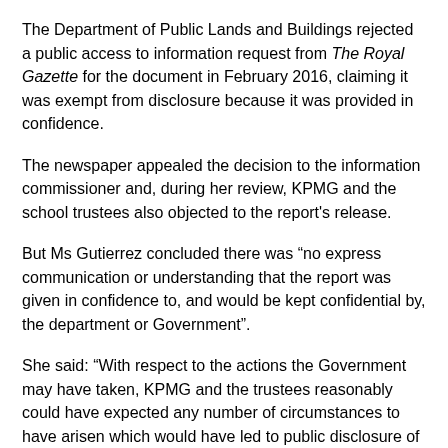The Department of Public Lands and Buildings rejected a public access to information request from The Royal Gazette for the document in February 2016, claiming it was exempt from disclosure because it was provided in confidence.
The newspaper appealed the decision to the information commissioner and, during her review, KPMG and the school trustees also objected to the report's release.
But Ms Gutierrez concluded there was “no express communication or understanding that the report was given in confidence to, and would be kept confidential by, the department or Government”.
She said: “With respect to the actions the Government may have taken, KPMG and the trustees reasonably could have expected any number of circumstances to have arisen which would have led to public disclosure of some or all of the KPMG report.
“This includes disclosure during public consultation on the options concerning Sandys 360, in connection with the parliamentary debate on a decision to purchase the land and buildings, and so on.
“Both KPMG and the trustees were aware they were negotiating